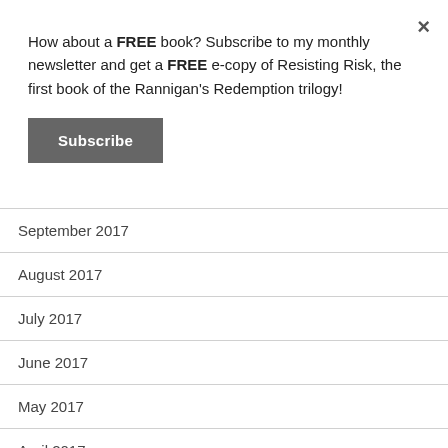How about a FREE book? Subscribe to my monthly newsletter and get a FREE e-copy of Resisting Risk, the first book of the Rannigan's Redemption trilogy!
Subscribe
September 2017
August 2017
July 2017
June 2017
May 2017
April 2017
March 2017
February 2017